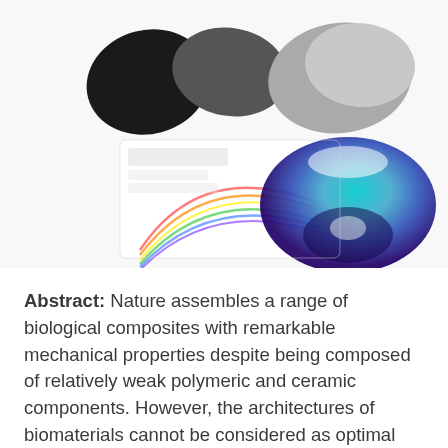[Figure (illustration): Scientific illustration showing biomaterial structures. Top portion shows two dark butterfly/wing-like shapes on the left and a grey rounded shape on the right. Bottom portion shows a colorful spectrum/rainbow arc on the left side and a blue-green-purple gradient rounded shell-like structure on the right, on a white background.]
Abstract: Nature assembles a range of biological composites with remarkable mechanical properties despite being composed of relatively weak polymeric and ceramic components. However, the architectures of biomaterials cannot be considered as optimal designs for